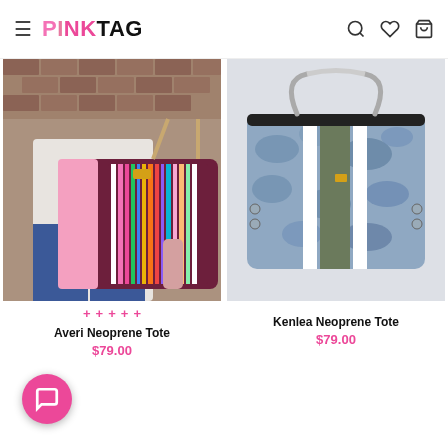PINKTAG
[Figure (photo): Woman holding a large burgundy neoprene tote bag with multicolored vertical stripes, posing against a brick wall background.]
+ + + + +
Averi Neoprene Tote
$79.00
[Figure (photo): A camouflage-patterned neoprene tote bag with olive green and white stripes, rope handles, on a light gray background.]
Kenlea Neoprene Tote
$79.00